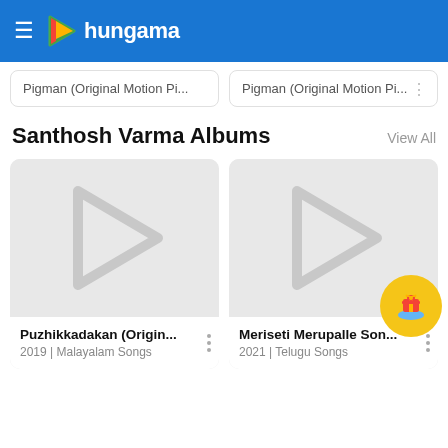Hungama
Pigman (Original Motion Pi...
Pigman (Original Motion Pi...
Santhosh Varma Albums
View All
[Figure (screenshot): Album card with grey placeholder play icon for Puzhikkadakan (Original... album]
Puzhikkadakan (Origin...
2019 | Malayalam Songs
[Figure (screenshot): Album card with grey placeholder play icon for Meriseti Merupalle Son... album, with a golden gift badge overlay]
Meriseti Merupalle Son...
2021 | Telugu Songs